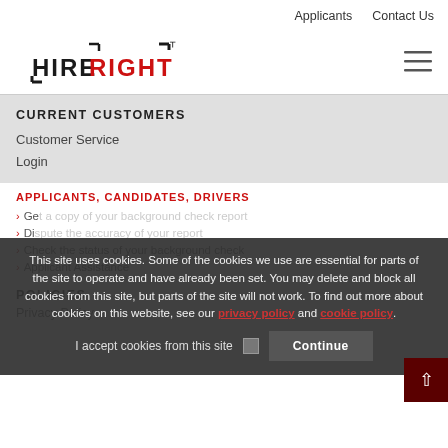Applicants   Contact Us
[Figure (logo): HireRight logo with stylized bracket marks, black HIRE and red RIGHT text]
CURRENT CUSTOMERS
Customer Service
Login
APPLICANTS, CANDIDATES, DRIVERS
Get a copy of your background check report
Dispute the accuracy of your report
Check the status of your background check
Applicant Assistance
POLICIES
Privacy Policy
This site uses cookies. Some of the cookies we use are essential for parts of the site to operate and have already been set. You may delete and block all cookies from this site, but parts of the site will not work. To find out more about cookies on this website, see our privacy policy and cookie policy.
I accept cookies from this site
Continue